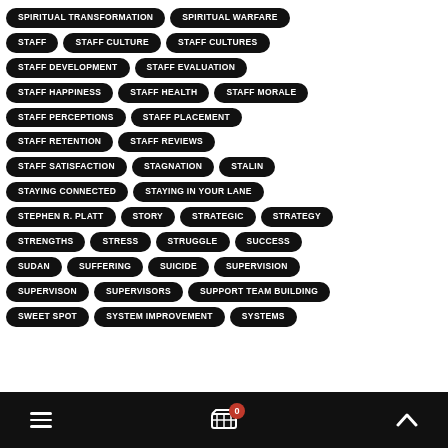SPIRITUAL TRANSFORMATION
SPIRITUAL WARFARE
STAFF
STAFF CULTURE
STAFF CULTURES
STAFF DEVELOPMENT
STAFF EVALUATION
STAFF HAPPINESS
STAFF HEALTH
STAFF MORALE
STAFF PERCEPTIONS
STAFF PLACEMENT
STAFF RETENTION
STAFF REVIEWS
STAFF SATISFACTION
STAGNATION
STALIN
STAYING CONNECTED
STAYING IN YOUR LANE
STEPHEN R. PLATT
STORY
STRATEGIC
STRATEGY
STRENGTHS
STRESS
STRUGGLE
SUCCESS
SUDAN
SUFFERING
SUICIDE
SUPERVISION
SUPERVISON
SUPERVISORS
SUPPORT TEAM BUILDING
SWEET SPOT
SYSTEM IMPROVEMENT
SYSTEMS
≡  🛒 0  ∧